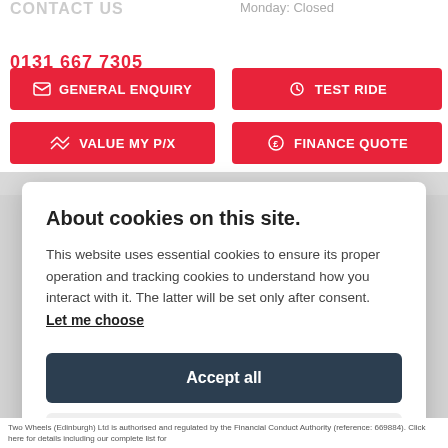CONTACT US
Monday: Closed
0131 667 7305
GENERAL ENQUIRY
FOLLOW US TEST RIDE
VALUE MY P/X
FINANCE QUOTE
About cookies on this site.
This website uses essential cookies to ensure its proper operation and tracking cookies to understand how you interact with it. The latter will be set only after consent. Let me choose
Accept all
Reject all
Two Wheels (Edinburgh) Ltd is authorised and regulated by the Financial Conduct Authority (reference: 669884). Click here for details including our complete list for